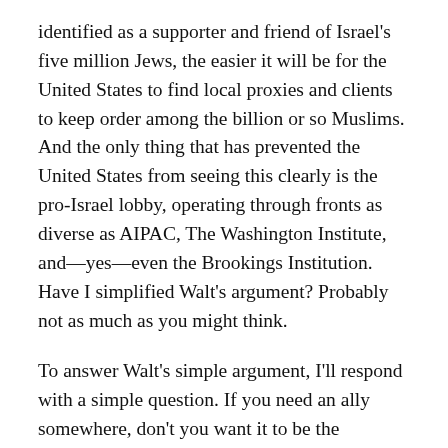identified as a supporter and friend of Israel's five million Jews, the easier it will be for the United States to find local proxies and clients to keep order among the billion or so Muslims. And the only thing that has prevented the United States from seeing this clearly is the pro-Israel lobby, operating through fronts as diverse as AIPAC, The Washington Institute, and—yes—even the Brookings Institution. Have I simplified Walt's argument? Probably not as much as you might think.
To answer Walt's simple argument, I'll respond with a simple question. If you need an ally somewhere, don't you want it to be the smartest, most powerful, and most resourceful guy on the block, who also happens to admire you? And what is the point of having an ally